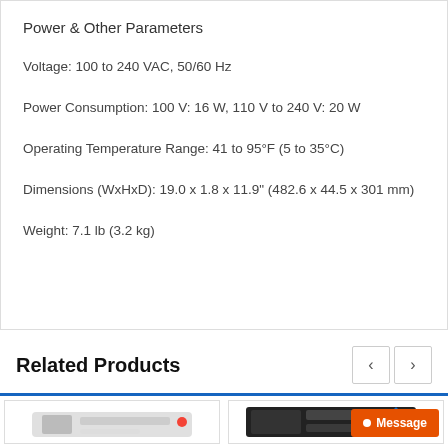Power & Other Parameters
Voltage: 100 to 240 VAC, 50/60 Hz
Power Consumption: 100 V: 16 W, 110 V to 240 V: 20 W
Operating Temperature Range: 41 to 95°F (5 to 35°C)
Dimensions (WxHxD): 19.0 x 1.8 x 11.9" (482.6 x 44.5 x 301 mm)
Weight: 7.1 lb (3.2 kg)
Related Products
[Figure (photo): Product photo left — partial view of networking equipment]
[Figure (photo): Product photo right — partial view of networking equipment with home icon overlay and Message button]